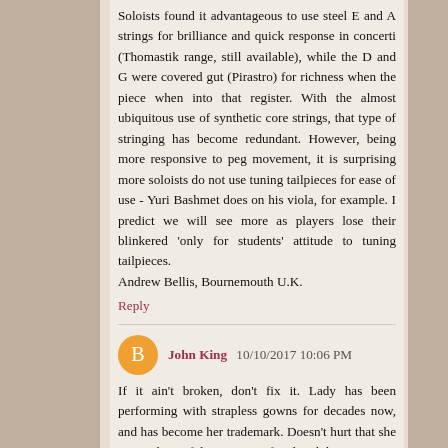Soloists found it advantageous to use steel E and A strings for brilliance and quick response in concerti (Thomastik range, still available), while the D and G were covered gut (Pirastro) for richness when the piece when into that register. With the almost ubiquitous use of synthetic core strings, that type of stringing has become redundant. However, being more responsive to peg movement, it is surprising more soloists do not use tuning tailpieces for ease of use - Yuri Bashmet does on his viola, for example. I predict we will see more as players lose their blinkered 'only for students' attitude to tuning tailpieces.
Andrew Bellis, Bournemouth U.K.
Reply
John King 10/10/2017 10:06 PM
If it ain't broken, don't fix it. Lady has been performing with strapless gowns for decades now, and has become her trademark. Doesn't hurt that she is very beautiful. Has it interfered with her